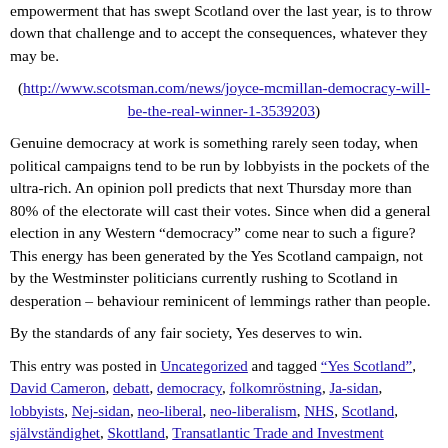empowerment that has swept Scotland over the last year, is to throw down that challenge and to accept the consequences, whatever they may be.
(http://www.scotsman.com/news/joyce-mcmillan-democracy-will-be-the-real-winner-1-3539203)
Genuine democracy at work is something rarely seen today, when political campaigns tend to be run by lobbyists in the pockets of the ultra-rich. An opinion poll predicts that next Thursday more than 80% of the electorate will cast their votes. Since when did a general election in any Western “democracy” come near to such a figure? This energy has been generated by the Yes Scotland campaign, not by the Westminster politicians currently rushing to Scotland in desperation – behaviour reminicent of lemmings rather than people.
By the standards of any fair society, Yes deserves to win.
This entry was posted in Uncategorized and tagged "Yes Scotland", David Cameron, debatt, democracy, folkomröstning, Ja-sidan, lobbyists, Nej-sidan, neo-liberal, neo-liberalism, NHS, Scotland, självständighet, Skottland, Transatlantic Trade and Investment Partnership, TTIP, Westminster on September 12, 2014 by Barney.
CAMERON PUTS TWO SHOTS IN HIS FOOT ON